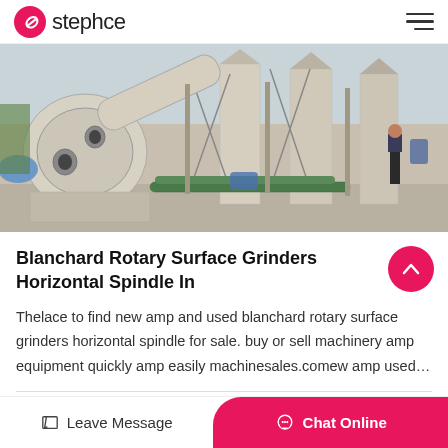stephce
[Figure (photo): Industrial grinding machinery installation outdoors — large rotary surface grinder with cylindrical drum, auger/screw conveyor, silos, and support structures on a grey surface. Workers visible in background.]
Blanchard Rotary Surface Grinders Horizontal Spindle In
Thelace to find new amp and used blanchard rotary surface grinders horizontal spindle for sale. buy or sell machinery amp equipment quickly amp easily machinesales.comew amp used…
Jan_26
Get Price
Leave Message
Chat Online